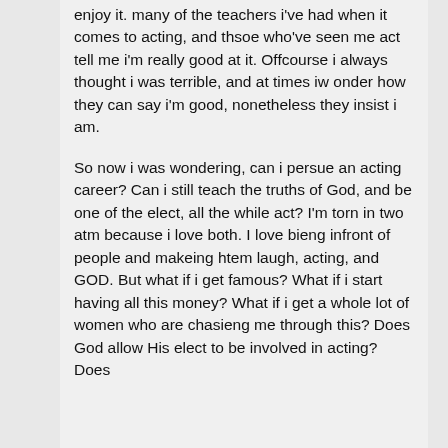enjoy it. many of the teachers i've had when it comes to acting, and thsoe who've seen me act tell me i'm really good at it. Offcourse i always thought i was terrible, and at times iw onder how they can say i'm good, nonetheless they insist i am.
So now i was wondering, can i persue an acting career? Can i still teach the truths of God, and be one of the elect, all the while act? I'm torn in two atm because i love both. I love bieng infront of people and makeing htem laugh, acting, and GOD. But what if i get famous? What if i start having all this money? What if i get a whole lot of women who are chasieng me through this? Does God allow His elect to be involved in acting? Does